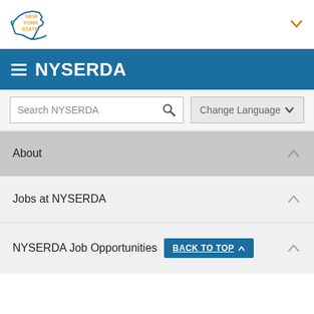[Figure (logo): New York State logo with blue outline of NY state and orange NEW YORK STATE text]
NYSERDA
Search NYSERDA
Change Language
About
Jobs at NYSERDA
NYSERDA Job Opportunities  BACK TO TOP